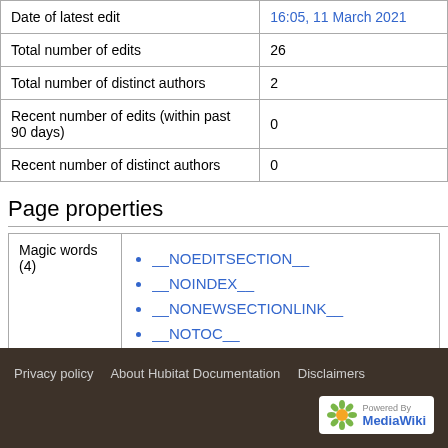|  |  |
| --- | --- |
| Date of latest edit | 16:05, 11 March 2021 |
| Total number of edits | 26 |
| Total number of distinct authors | 2 |
| Recent number of edits (within past 90 days) | 0 |
| Recent number of distinct authors | 0 |
Page properties
| Magic words (4) | __NOEDITSECTION__ · __NOINDEX__ · __NONEWSECTIONLINK__ · __NOTOC__ |
Privacy policy · About Hubitat Documentation · Disclaimers · Powered by MediaWiki